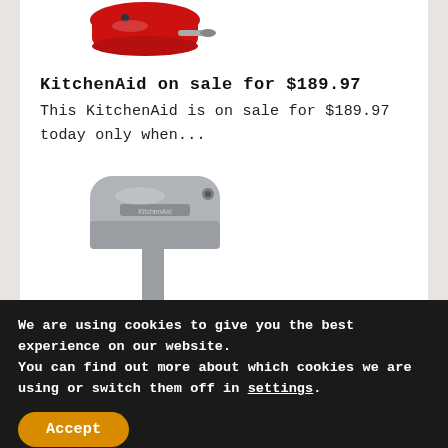[Figure (photo): Top portion of a red KitchenAid stand mixer with attachment, partially visible at top of page]
KitchenAid on sale for $189.97
This KitchenAid is on sale for $189.97 today only when...
[Figure (photo): Silver KitchenAid stand mixer with stainless steel bowl]
We are using cookies to give you the best experience on our website.
You can find out more about which cookies we are using or switch them off in settings.
Accept